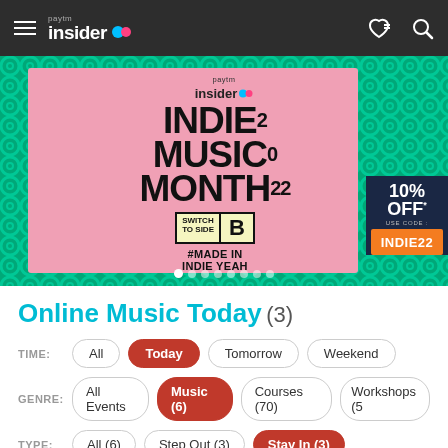Paytm Insider — navigation bar
[Figure (screenshot): Paytm Insider promotional banner for Indie Music Month 2022 — Switch to Side B, #MadeInIndieYeah, 10% OFF with code INDIE22]
Online Music Today (3)
TIME: All | Today | Tomorrow | Weekend
GENRE: All Events | Music (6) | Courses (70) | Workshops (5...)
TYPE: All (6) | Step Out (3) | Stay In (3)